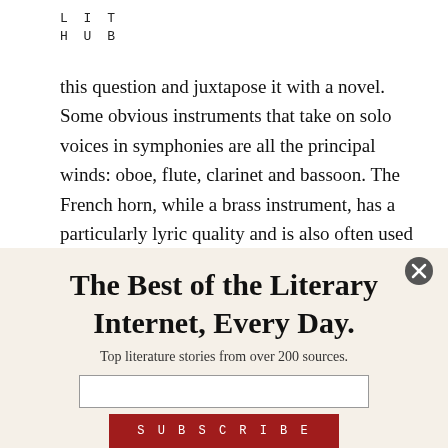L I T
H U B
this question and juxtapose it with a novel. Some obvious instruments that take on solo voices in symphonies are all the principal winds: oboe, flute, clarinet and bassoon. The French horn, while a brass instrument, has a particularly lyric quality and is also often used as
The Best of the Literary Internet, Every Day.
Top literature stories from over 200 sources.